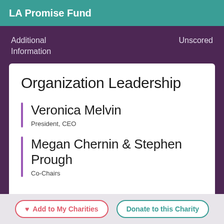LA Promise Fund
Additional Information
Unscored
Organization Leadership
Veronica Melvin
President, CEO
Megan Chernin & Stephen Prough
Co-Chairs
Add to My Charities   Donate to this Charity